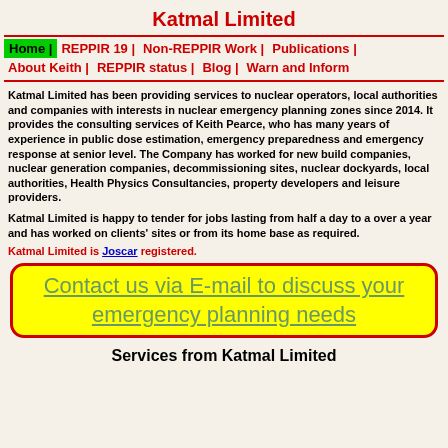Katmal Limited
Home | REPPIR 19 | Non-REPPIR Work | Publications | About Keith | REPPIR status | Blog | Warn and Inform
Katmal Limited has been providing services to nuclear operators, local authorities and companies with interests in nuclear emergency planning zones since 2014. It provides the consulting services of Keith Pearce, who has many years of experience in public dose estimation, emergency preparedness and emergency response at senior level. The Company has worked for new build companies, nuclear generation companies, decommissioning sites, nuclear dockyards, local authorities, Health Physics Consultancies, property developers and leisure providers.
Katmal Limited is happy to tender for jobs lasting from half a day to a over a year and has worked on clients' sites or from its home base as required.
Katmal Limited is Joscar registered.
Contact us via E-mail to discuss your emergency planning needs
Services from Katmal Limited